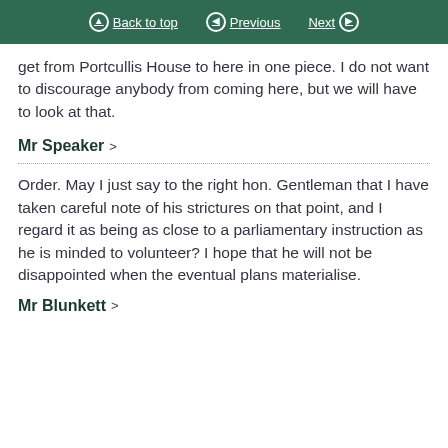Back to top | Previous | Next
get from Portcullis House to here in one piece. I do not want to discourage anybody from coming here, but we will have to look at that.
Mr Speaker >
Order. May I just say to the right hon. Gentleman that I have taken careful note of his strictures on that point, and I regard it as being as close to a parliamentary instruction as he is minded to volunteer? I hope that he will not be disappointed when the eventual plans materialise.
Mr Blunkett >